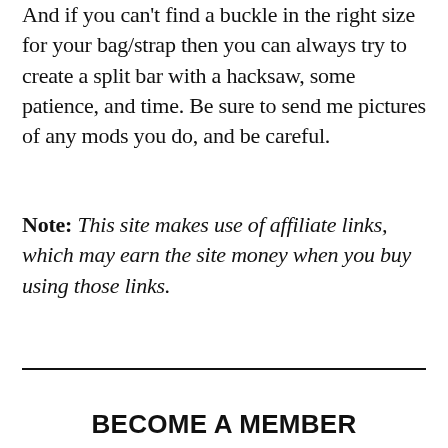And if you can't find a buckle in the right size for your bag/strap then you can always try to create a split bar with a hacksaw, some patience, and time. Be sure to send me pictures of any mods you do, and be careful.
Note: This site makes use of affiliate links, which may earn the site money when you buy using those links.
BECOME A MEMBER